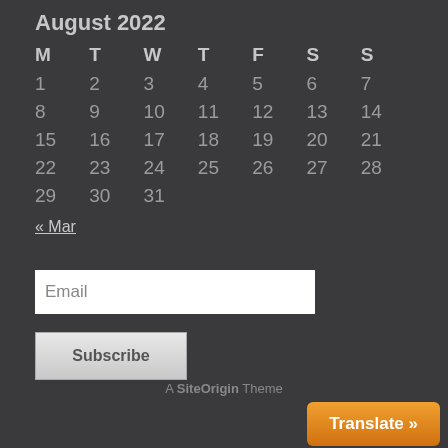August 2022
| M | T | W | T | F | S | S |
| --- | --- | --- | --- | --- | --- | --- |
| 1 | 2 | 3 | 4 | 5 | 6 | 7 |
| 8 | 9 | 10 | 11 | 12 | 13 | 14 |
| 15 | 16 | 17 | 18 | 19 | 20 | 21 |
| 22 | 23 | 24 | 25 | 26 | 27 | 28 |
| 29 | 30 | 31 |  |  |  |  |
« Mar
Email
Subscribe
A SiteOrigin Theme
Translate »